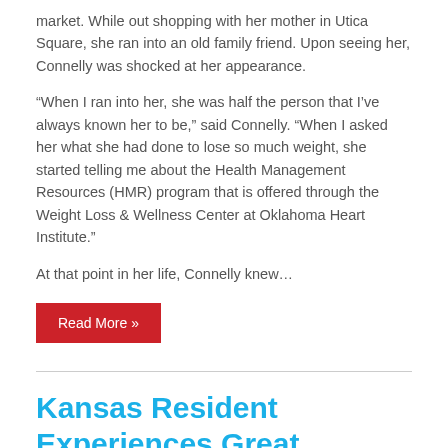market. While out shopping with her mother in Utica Square, she ran into an old family friend. Upon seeing her, Connelly was shocked at her appearance.
“When I ran into her, she was half the person that I’ve always known her to be,” said Connelly. “When I asked her what she had done to lose so much weight, she started telling me about the Health Management Resources (HMR) program that is offered through the Weight Loss & Wellness Center at Oklahoma Heart Institute.”
At that point in her life, Connelly knew…
Read More »
Kansas Resident Experiences Great Outcomes at Oklahoma Heart Institute